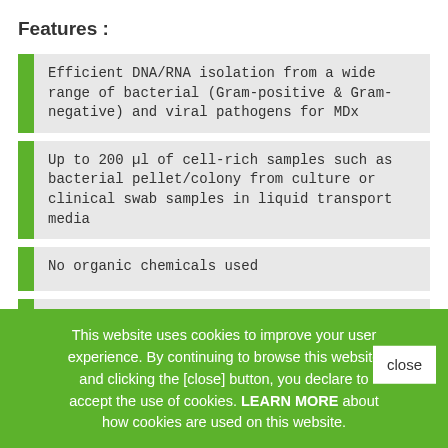Features :
Efficient DNA/RNA isolation from a wide range of bacterial (Gram-positive & Gram-negative) and viral pathogens for MDx
Up to 200 µl of cell-rich samples such as bacterial pellet/colony from culture or clinical swab samples in liquid transport media
No organic chemicals used
CE IVD
Print
This website uses cookies to improve your user experience. By continuing to browse this website and clicking the [close] button, you declare to accept the use of cookies. LEARN MORE about how cookies are used on this website.